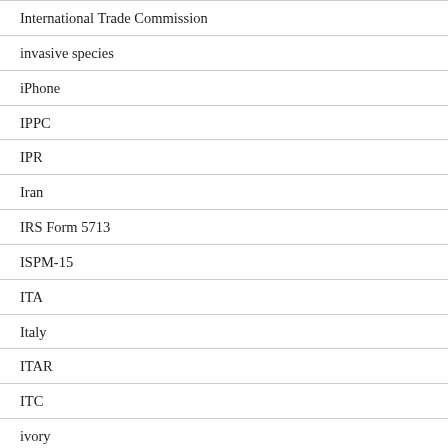International Trade Commission
invasive species
iPhone
IPPC
IPR
Iran
IRS Form 5713
ISPM-15
ITA
Italy
ITAR
ITC
ivory
Japan
Khapra Beetle